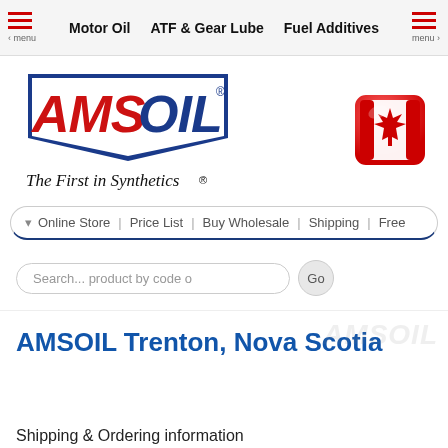Motor Oil | ATF & Gear Lube | Fuel Additives
[Figure (logo): AMSOIL logo with text 'The First in Synthetics' and Canadian flag icon]
Online Store | Price List | Buy Wholesale | Shipping | Free
Search... product by code o
AMSOIL Trenton, Nova Scotia
Shipping & Ordering information
AMSOIL products for Trenton, Nova